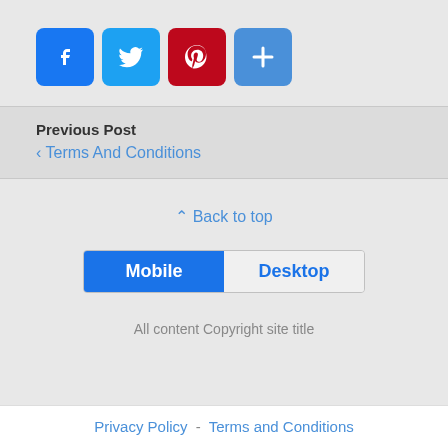[Figure (infographic): Social sharing icons: Facebook (blue), Twitter (light blue), Pinterest (red), and a plus/more button (blue)]
Previous Post
‹ Terms And Conditions
⇪ Back to top
[Figure (infographic): Mobile/Desktop toggle bar with Mobile selected (blue) and Desktop unselected (grey)]
All content Copyright site title
Privacy Policy - Terms and Conditions